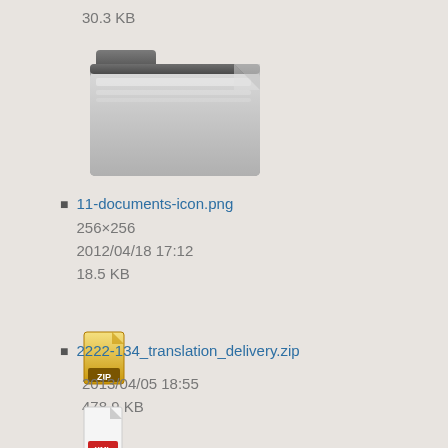30.3 KB
[Figure (illustration): Folder icon (silver/gray folder graphic)]
11-documents-icon.png
256×256
2012/04/18 17:12
18.5 KB
[Figure (illustration): ZIP file icon (gold/yellow zip archive icon)]
2222-134_translation_delivery.zip
2013/04/05 18:55
478.9 KB
[Figure (illustration): XML file icon (white page with XML label in red)]
8021x_customer_directory_template.xml
2012/11/29 22:41
5.4 KB